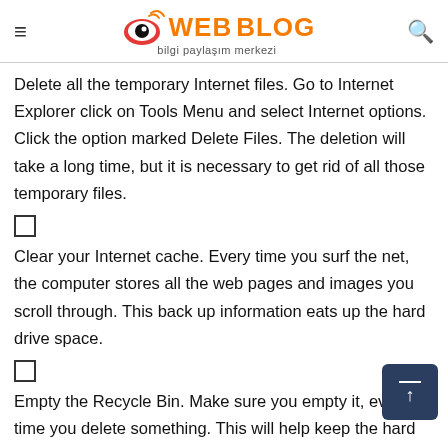WEB BLOG bilgi paylaşım merkezi
Delete all the temporary Internet files. Go to Internet Explorer click on Tools Menu and select Internet options. Click the option marked Delete Files. The deletion will take a long time, but it is necessary to get rid of all those temporary files.
Clear your Internet cache. Every time you surf the net, the computer stores all the web pages and images you scroll through. This back up information eats up the hard drive space.
Empty the Recycle Bin. Make sure you empty it, every time you delete something. This will help keep the hard drive clean and free from unnecessary clutter.